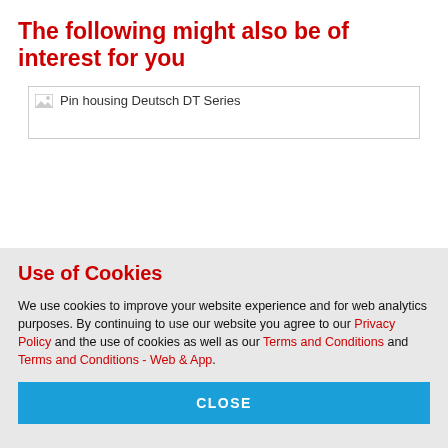The following might also be of interest for you
[Figure (photo): Pin housing Deutsch DT Series product image placeholder]
Use of Cookies
We use cookies to improve your website experience and for web analytics purposes. By continuing to use our website you agree to our Privacy Policy and the use of cookies as well as our Terms and Conditions and Terms and Conditions - Web & App.
CLOSE